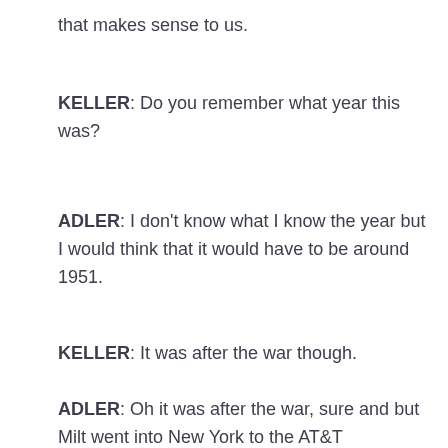that makes sense to us.
KELLER:  Do you remember what year this was?
ADLER:  I don't know what I know the year but I would think that it would have to be around 1951.
KELLER:  It was after the war though.
ADLER: Oh it was after the war, sure and but Milt went into New York to the AT&T